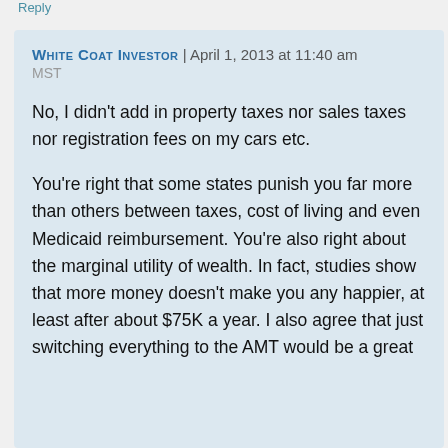Reply
White Coat Investor | April 1, 2013 at 11:40 am MST
No, I didn't add in property taxes nor sales taxes nor registration fees on my cars etc.
You're right that some states punish you far more than others between taxes, cost of living and even Medicaid reimbursement. You're also right about the marginal utility of wealth. In fact, studies show that more money doesn't make you any happier, at least after about $75K a year. I also agree that just switching everything to the AMT would be a great